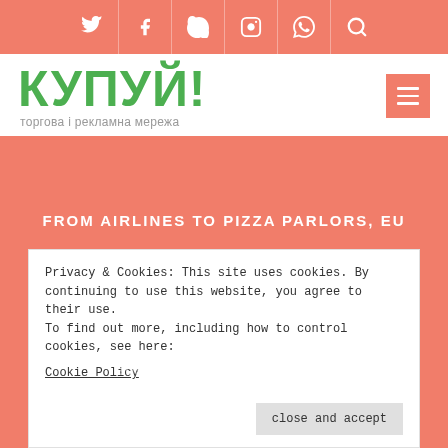Social icons bar: Twitter, Facebook, Skype, Instagram, WhatsApp, Search
КУПУЙ!
торгова і рекламна мережа
FROM AIRLINES TO PIZZA PARLORS, EU
BUSINESSES ADOPT DATA LAW
Privacy & Cookies: This site uses cookies. By continuing to use this website, you agree to their use.
To find out more, including how to control cookies, see here:
Cookie Policy
close and accept